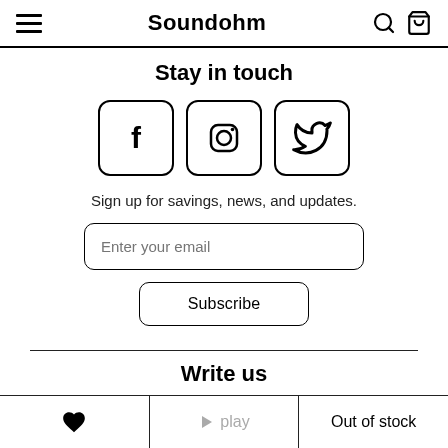Soundohm
Stay in touch
[Figure (illustration): Three social media icon buttons in rounded square boxes: Facebook (f), Instagram (camera circle), Twitter (bird)]
Sign up for savings, news, and updates.
Enter your email
Subscribe
Write us
❤  play  Out of stock